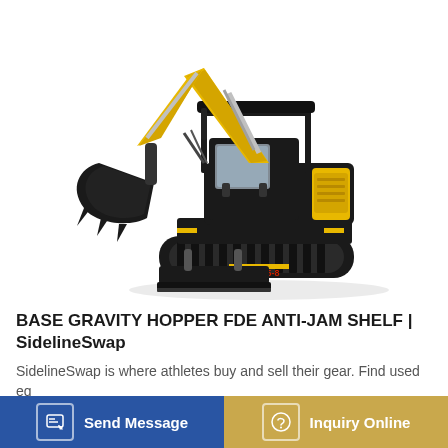[Figure (photo): A yellow and black mini excavator (model YC15-8) with hydraulic arm, bucket attachment, canopy/ROPS, rubber tracks, and front blade, shown on white background]
BASE GRAVITY HOPPER FDE ANTI-JAM SHELF | SidelineSwap
SidelineSwap is where athletes buy and sell their gear. Find used eq...